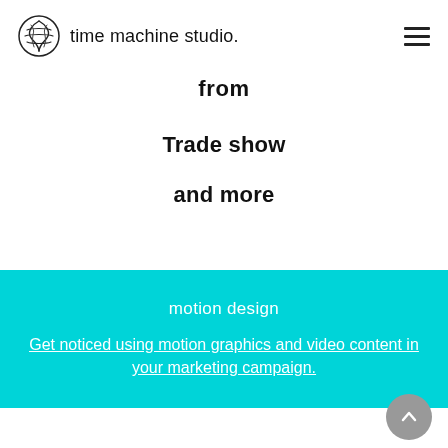time machine studio.
from
Trade show
and more
motion design
Get noticed using motion graphics and video content in your marketing campaign.